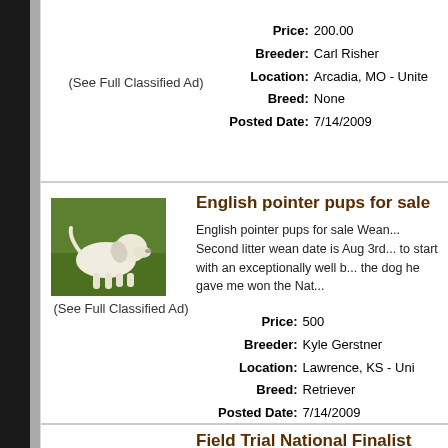(See Full Classified Ad)
Price: 200.00
Breeder: Carl Risher
Location: Arcadia, MO - Unite
Breed: None
Posted Date: 7/14/2009
[Figure (photo): White English pointer puppy standing on green grass]
(See Full Classified Ad)
English pointer pups for sale
English pointer pups for sale Wean... Second litter wean date is Aug 3rd... to start with an exceptionally well b... the dog he gave me won the Nat...
Price: 500
Breeder: Kyle Gerstner
Location: Lawrence, KS - Uni
Breed: Retriever
Posted Date: 7/14/2009
Field Trial National Finalist pups
Yellows and Yellow factored blacks... Close-Hauled To Windward (Sailor...